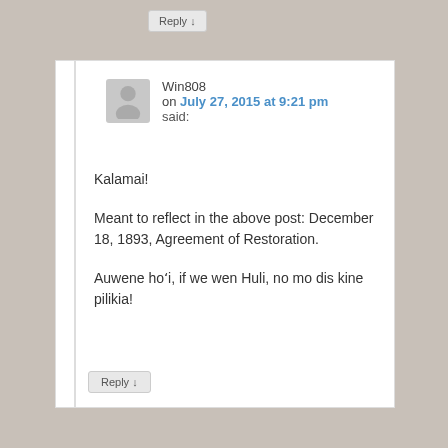Reply ↓
Win808
on July 27, 2015 at 9:21 pm said:
Kalamai!
Meant to reflect in the above post: December 18, 1893, Agreement of Restoration.
Auwene hoʻi, if we wen Huli, no mo dis kine pilikia!
Reply ↓